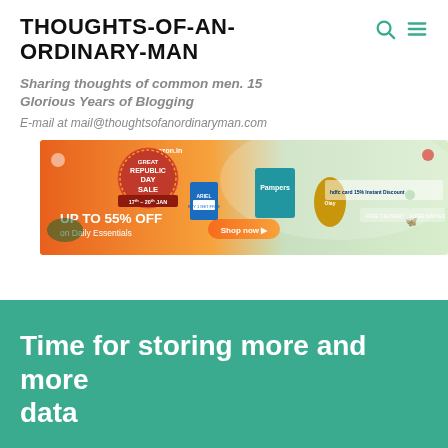THOUGHTS-OF-AN-ORDINARY-MAN
Sharing thoughts of common men. 15 Glorious Years of Blogging
E-mail at mail@thoughtsofanordinaryman.com
[Figure (photo): Amazon.in Great Republic Day Sale banner – UP TO 55% OFF on Daily Essentials, 17th–20th Jan, Shop now button, featuring Ariel, Pampers, Olay products]
Time for storing more and more data